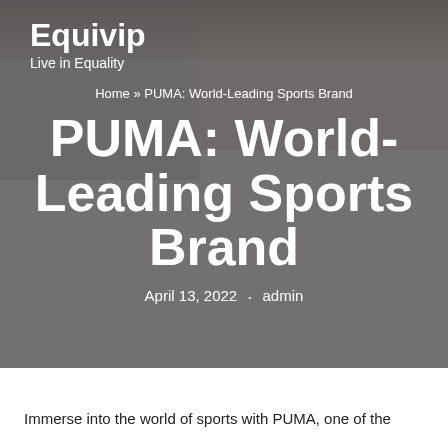Equivip
Live in Equality
Home » PUMA: World-Leading Sports Brand
PUMA: World-Leading Sports Brand
April 13, 2022 · admin
Immerse into the world of sports with PUMA, one of the